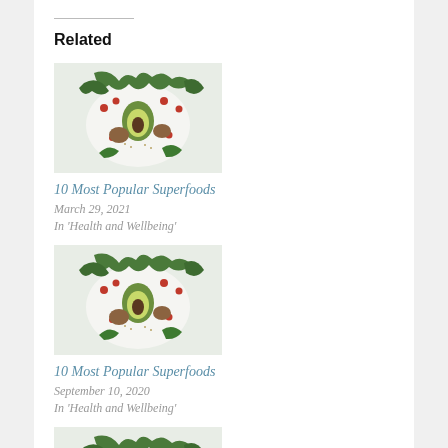Related
[Figure (photo): Top view of superfoods including kale, avocado, berries and other greens arranged on white background]
10 Most Popular Superfoods
March 29, 2021
In 'Health and Wellbeing'
[Figure (photo): Top view of superfoods including kale, avocado, berries and other greens arranged on white background]
10 Most Popular Superfoods
September 10, 2020
In 'Health and Wellbeing'
[Figure (photo): Top view of superfoods including kale, avocado, berries and other greens arranged on white background]
10 Most Popular Superfoods
June 22, 2020
In 'Health and Wellbeing'